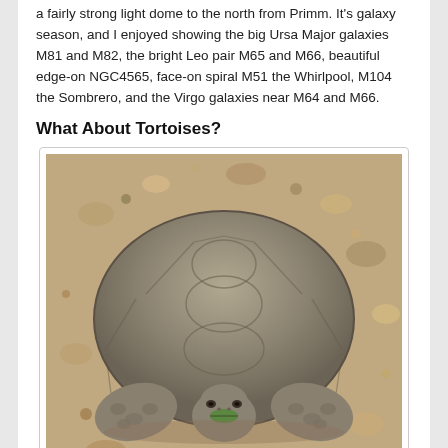a fairly strong light dome to the north from Primm. It's galaxy season, and I enjoyed showing the big Ursa Major galaxies M81 and M82, the bright Leo pair M65 and M66, beautiful edge-on NGC4565, face-on spiral M51 the Whirlpool, M104 the Sombrero, and the Virgo galaxies near M64 and M66.
What About Tortoises?
[Figure (photo): A tortoise photographed from the front, resting on rocky/gravelly ground. The tortoise has a large domed shell with a gray-brown scute pattern, and is facing the camera with green residue visible on its mouth/beak. Its front legs are spread wide.]
Tortoise three has been chowing down, or likes green lipstick.